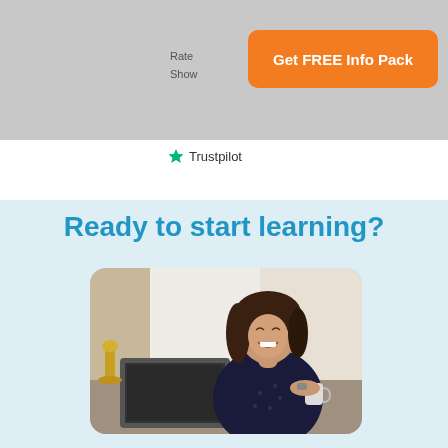Rate
Show
Get FREE Info Pack
Trustpilot
Ready to start learning?
[Figure (photo): A smiling young woman with long curly dark hair, wearing a dark polka-dot blouse, sitting at a desk with a laptop open in front of her, holding a mug, in a bright office/home setting.]